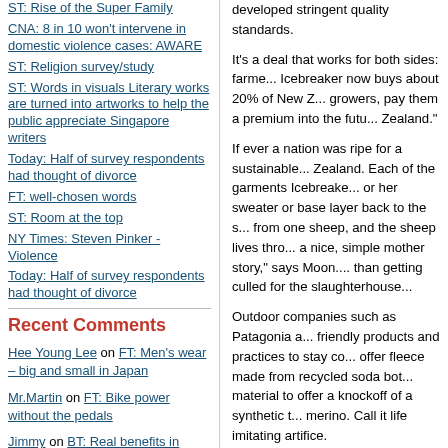ST: Rise of the Super Family
CNA: 8 in 10 won't intervene in domestic violence cases: AWARE
ST: Religion survey/study
ST: Words in visuals Literary works are turned into artworks to help the public appreciate Singapore writers
Today: Half of survey respondents had thought of divorce
FT: well-chosen words
ST: Room at the top
NY Times: Steven Pinker - Violence
Today: Half of survey respondents had thought of divorce
Recent Comments
Hee Young Lee on FT: Men's wear – big and small in Japan
Mr.Martin on FT: Bike power without the pedals
Jimmy on BT: Real benefits in virtual worlds
Ritalin Prescription Medication on FT: Phelps ascends to Olympic pantheon
developed stringent quality standards.
It's a deal that works for both sides: farme... Icebreaker now buys about 20% of New Z... growers, pay them a premium into the futu... Zealand."
If ever a nation was ripe for a sustainable... Zealand. Each of the garments Icebreake... or her sweater or base layer back to the s... from one sheep, and the sheep lives thro... a nice, simple mother story," says Moon.... than getting culled for the slaughterhouse...
Outdoor companies such as Patagonia a... friendly products and practices to stay co... offer fleece made from recycled soda bot... material to offer a knockoff of a synthetic... merino. Call it life imitating artifice.
Sustainability is all touchy-feely and resp... products if they didn't perform well, espe... Depending on how cold it is and what you... undies to base layers, T-shirts and sweat... it calls Superfine. New Zealand's merinos... yet with high insulation value for warmth.... attest that it was comfortable and dry dur... Paragon Sports in New York City describe... craftsman and his designs.)
Having established itself in Europe, Asia a... that, Moon moved a chunk of the comp...